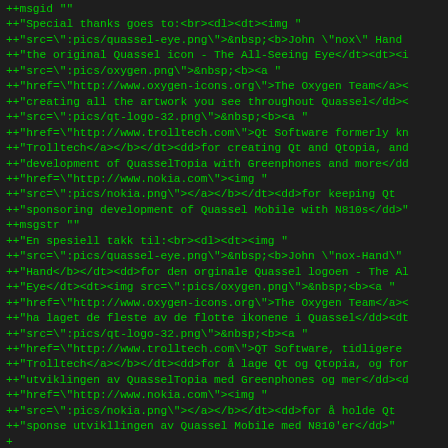Code diff showing msgid/msgstr translation strings for Quassel about dialog in Norwegian